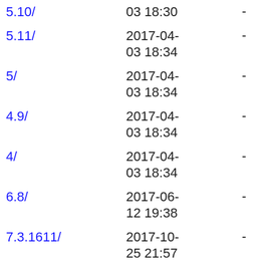5.10/	03 18:30	-
5.11/	2017-04-03 18:34	-
5/	2017-04-03 18:34	-
4.9/	2017-04-03 18:34	-
4/	2017-04-03 18:34	-
6.8/	2017-06-12 19:38	-
7.3.1611/	2017-10-25 21:57	-
7.4.1708/	2018-05-24 20:25	-
6.9/	2018-07-25 22:42	-
7.5.1804/	2019-01-04 23:00	-
RPM-GPG-KEY-CentOS-Official	2019-09-12 14:39	1.6K